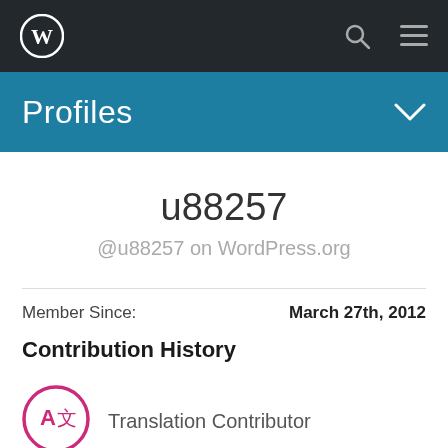WordPress navigation bar with logo, search, and menu icons
Profiles
u88257
@u88257 on WordPress.org
Member Since: March 27th, 2012
Contribution History
Translation Contributor